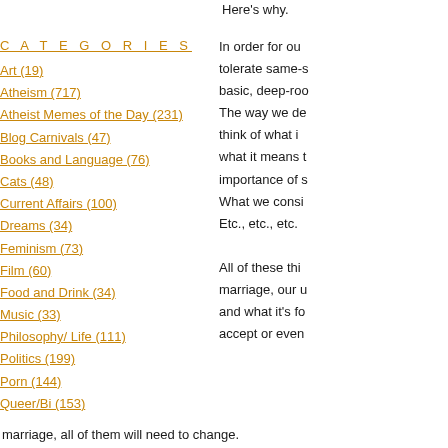Here's why.
C A T E G O R I E S
Art (19)
Atheism (717)
Atheist Memes of the Day (231)
Blog Carnivals (47)
Books and Language (76)
Cats (48)
Current Affairs (100)
Dreams (34)
Feminism (73)
Film (60)
Food and Drink (34)
Music (33)
Philosophy/ Life (111)
Politics (199)
Porn (144)
Queer/Bi (153)
In order for ou
tolerate same-s
basic, deep-roo
The way we de
think of what i
what it means t
importance of s
What we consi
Etc., etc., etc.

All of these thi
marriage, our u
and what it's fo
accept or even
marriage, all of them will need to change.